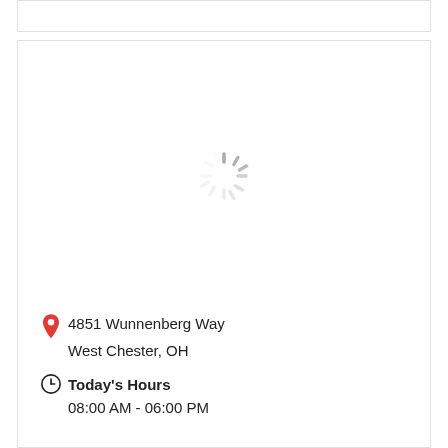[Figure (screenshot): Loading spinner (animated circle of gray dashes) shown in a map placeholder area]
4851 Wunnenberg Way
West Chester, OH
Today's Hours
08:00 AM - 06:00 PM